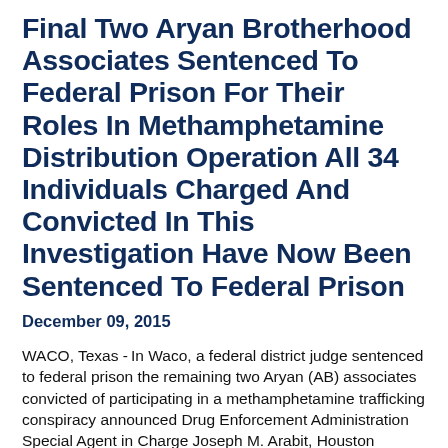Final Two Aryan Brotherhood Associates Sentenced To Federal Prison For Their Roles In Methamphetamine Distribution Operation All 34 Individuals Charged And Convicted In This Investigation Have Now Been Sentenced To Federal Prison
December 09, 2015
WACO, Texas - In Waco, a federal district judge sentenced to federal prison the remaining two Aryan (AB) associates convicted of participating in a methamphetamine trafficking conspiracy announced Drug Enforcement Administration Special Agent in Charge Joseph M. Arabit, Houston Division, United States Attorney Richard L. Durbin Jr., and Federal...